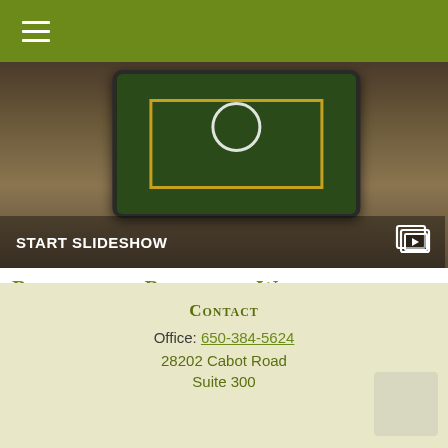[Figure (screenshot): Screenshot of a tablet showing a presentation or slideshow, with a play button circle overlay. Below the image is a dark overlay bar with 'START SLIDESHOW' text and a slideshow icon.]
Principles of Preserving Wealth
How federal estate taxes work, plus estate management documents and tactics.
Contact
Office: 650-384-5624
28202 Cabot Road
Suite 300